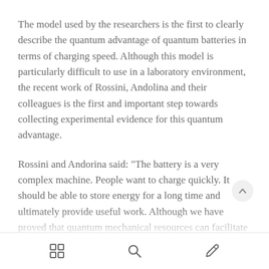The model used by the researchers is the first to clearly describe the quantum advantage of quantum batteries in terms of charging speed. Although this model is particularly difficult to use in a laboratory environment, the recent work of Rossini, Andolina and their colleagues is the first and important step towards collecting experimental evidence for this quantum advantage.
Rossini and Andorina said: "The battery is a very complex machine. People want to charge quickly. It should be able to store energy for a long time and ultimately provide useful work. Although we have proved that quantum mechanical resources can facilitate the charging process, But it is not yet clear whether they can be used to improve this hypothetical quantum battery for other tasks, so the
[grid icon] [search icon] [pen icon]